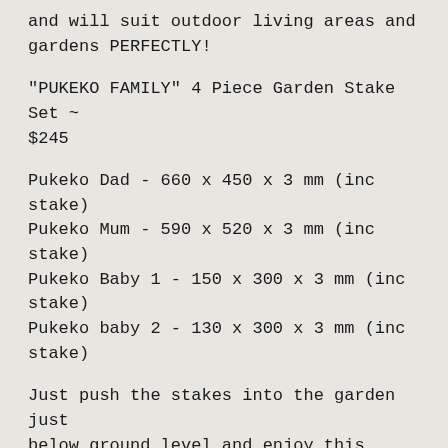and will suit outdoor living areas and gardens PERFECTLY!
"PUKEKO FAMILY" 4 Piece Garden Stake Set ~ $245
Pukeko Dad - 660 x 450 x 3 mm (inc stake)
Pukeko Mum - 590 x 520 x 3 mm (inc stake)
Pukeko Baby 1 - 150 x 300 x 3 mm (inc stake)
Pukeko baby 2 - 130 x 300 x 3 mm (inc stake)
Just push the stakes into the garden just below ground level and enjoy this lovely NZ Pukeko family all year round!
And don't forget, Hunting4Art.co.nz offers FREE SHIPPING NATIONWIDE on ALL products in our ONLINE STORE!!! :)